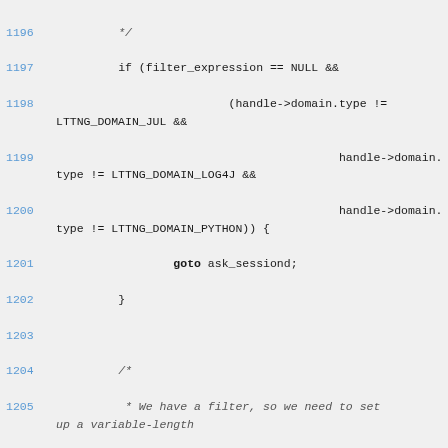Source code listing lines 1196-1212 showing C code with filter_expression checks and domain type comparisons